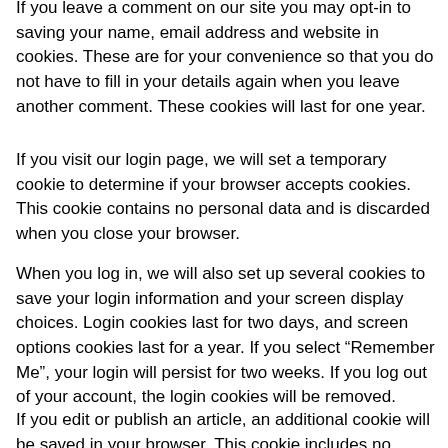If you leave a comment on our site you may opt-in to saving your name, email address and website in cookies. These are for your convenience so that you do not have to fill in your details again when you leave another comment. These cookies will last for one year.
If you visit our login page, we will set a temporary cookie to determine if your browser accepts cookies. This cookie contains no personal data and is discarded when you close your browser.
When you log in, we will also set up several cookies to save your login information and your screen display choices. Login cookies last for two days, and screen options cookies last for a year. If you select “Remember Me”, your login will persist for two weeks. If you log out of your account, the login cookies will be removed.
If you edit or publish an article, an additional cookie will be saved in your browser. This cookie includes no personal data and